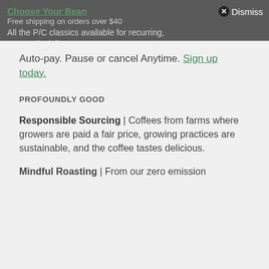Choose Your Bean | Free shipping on orders over $40 | All the P/C classics available for recurring, automatic delivery! | ✕ Dismiss
Auto-pay. Pause or cancel Anytime. Sign up today.
PROFOUNDLY GOOD
Responsible Sourcing | Coffees from farms where growers are paid a fair price, growing practices are sustainable, and the coffee tastes delicious.
Mindful Roasting | From our zero emission